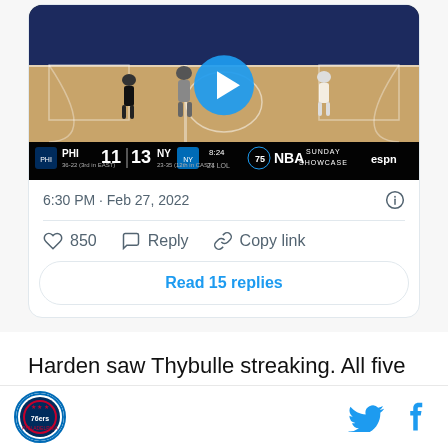[Figure (screenshot): Tweet card embedding an NBA basketball game video thumbnail showing a Philadelphia 76ers vs New York Knicks game on ESPN Sunday Showcase. Score shows PHI 11, NY 13, 8:24 remaining, 24 shotclock. A play button overlay is centered on the image. Below the video: timestamp '6:30 PM · Feb 27, 2022', an info icon, like count '850', Reply and Copy link actions, and a 'Read 15 replies' button.]
Harden saw Thybulle streaking. All five Knicks were watching Harden, and ignoring everyone else. Matisse is able to finish with a slam. With an exceptional passer
[Figure (logo): Philadelphia 76ers circular logo in bottom-left footer]